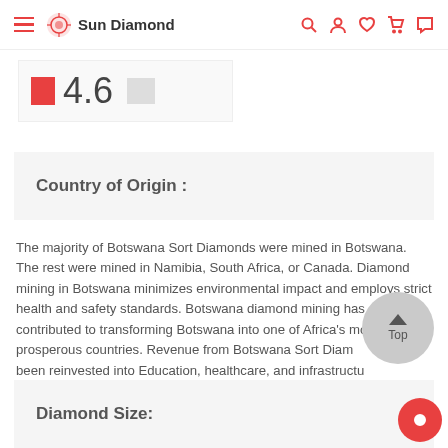Sun Diamond
4.6
Country of Origin :
The majority of Botswana Sort Diamonds were mined in Botswana. The rest were mined in Namibia, South Africa, or Canada. Diamond mining in Botswana minimizes environmental impact and employs strict health and safety standards. Botswana diamond mining has contributed to transforming Botswana into one of Africa's most prosperous countries. Revenue from Botswana Sort Diamonds has been reinvested into Education, healthcare, and infrastructure.
Diamond Size: